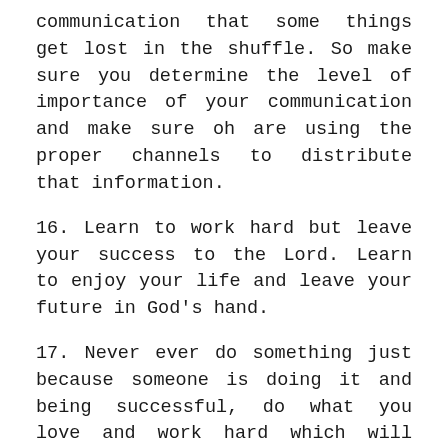communication that some things get lost in the shuffle. So make sure you determine the level of importance of your communication and make sure oh are using the proper channels to distribute that information.
16. Learn to work hard but leave your success to the Lord. Learn to enjoy your life and leave your future in God's hand.
17. Never ever do something just because someone is doing it and being successful, do what you love and work hard which will eventually lead you to happiness and success.
18. The most important thing for an athlete is to know his ability. If you know your ability and have even a little bit of a strong mindset, you can get